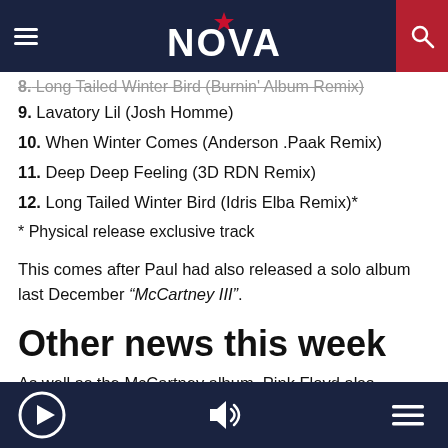NOVA (logo with star)
8. Long Tailed Winter Bird (Burnin' Album Remix)
9. Lavatory Lil (Josh Homme)
10. When Winter Comes (Anderson .Paak Remix)
11. Deep Deep Feeling (3D RDN Remix)
12. Long Tailed Winter Bird (Idris Elba Remix)*
* Physical release exclusive track
This comes after Paul had also released a solo album last December “McCartney III”.
Other news this week
As well as the McCartney album, Pink Floyd also confirmed the release of “Live At Knebworth” as a live album
Play | Volume | Menu